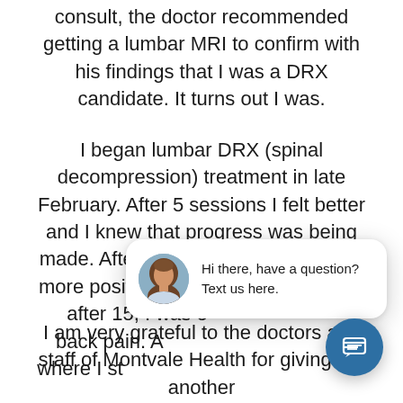consult, the doctor recommended getting a lumbar MRI to confirm with his findings that I was a DRX candidate. It turns out I was.
I began lumbar DRX (spinal decompression) treatment in late February. After 5 sessions I felt better and I knew that progress was being made. After 11 sessions, I grew even more positive about my progress and after 15, I was e[...] back pain. A[...] where I st[...] has happened.
[Figure (other): Live chat widget overlay with a female avatar photo and the message 'Hi there, have a question? Text us here.' and a blue circular chat icon button.]
I am very grateful to the doctors and staff of Montvale Health for giving me another